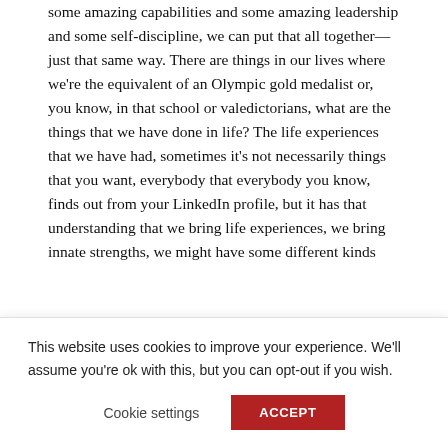some amazing capabilities and some amazing leadership and some self-discipline, we can put that all together—just that same way. There are things in our lives where we're the equivalent of an Olympic gold medalist or, you know, in that school or valedictorians, what are the things that we have done in life? The life experiences that we have had, sometimes it's not necessarily things that you want, everybody that everybody you know, finds out from your LinkedIn profile, but it has that understanding that we bring life experiences, we bring innate strengths, we might have some different kinds
This website uses cookies to improve your experience. We'll assume you're ok with this, but you can opt-out if you wish.
Cookie settings    ACCEPT